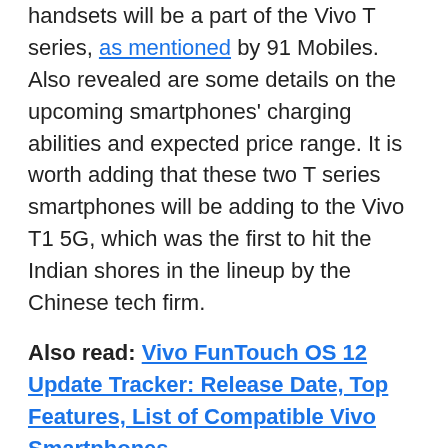handsets will be a part of the Vivo T series, as mentioned by 91 Mobiles. Also revealed are some details on the upcoming smartphones' charging abilities and expected price range. It is worth adding that these two T series smartphones will be adding to the Vivo T1 5G, which was the first to hit the Indian shores in the lineup by the Chinese tech firm.
Also read: Vivo FunTouch OS 12 Update Tracker: Release Date, Top Features, List of Compatible Vivo Smartphones
It has been revealed that Vivo's upcoming T series smartphones will be rather mid-range handsets and not high-end. That's because the expected price segment of the two is said to be around Rs 25,000. The final marketing names are still a mystery, but the report